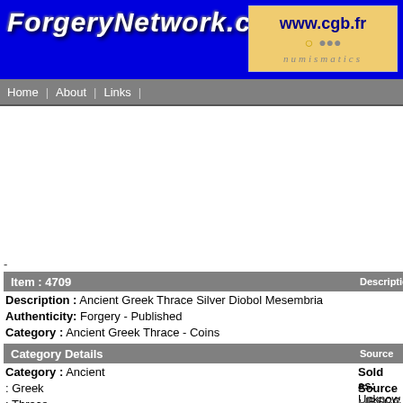ForgeryNetwork.com
[Figure (logo): www.cgb.fr numismatics advertisement banner]
Home | About | Links
-
Item : 4709
Description : Ancient Greek Thrace Silver Diobol Mesembria
Authenticity: Forgery - Published
Category : Ancient Greek Thrace - Coins
Category Details
Description
Category : Ancient
Source
Sold as: Unknow
: Greek
Source : IBSCC
: Thrace
http://www.iapn-
Key Info
Condemnati